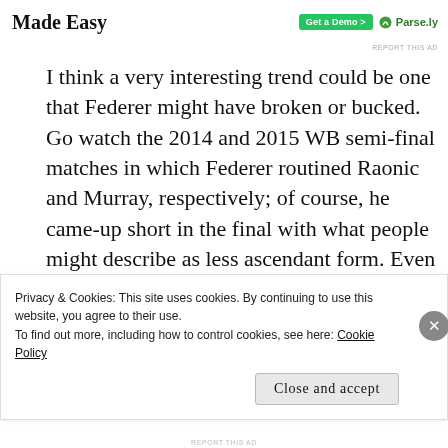Made Easy
I think a very interesting trend could be one that Federer might have broken or bucked. Go watch the 2014 and 2015 WB semi-final matches in which Federer routined Raonic and Murray, respectively; of course, he came-up short in the final with what people might describe as less ascendant form. Even though this year's SF vs. Berdych was in straights, I think many of us
Privacy & Cookies: This site uses cookies. By continuing to use this website, you agree to their use.
To find out more, including how to control cookies, see here: Cookie Policy